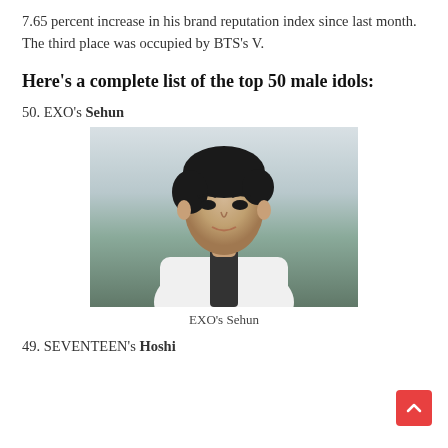7.65 percent increase in his brand reputation index since last month. The third place was occupied by BTS's V.
Here's a complete list of the top 50 male idols:
50. EXO's Sehun
[Figure (photo): Photo of EXO's Sehun, a young man with dark hair wearing a white blazer with a dark shirt underneath, photographed outdoors.]
EXO's Sehun
49. SEVENTEEN's Hoshi